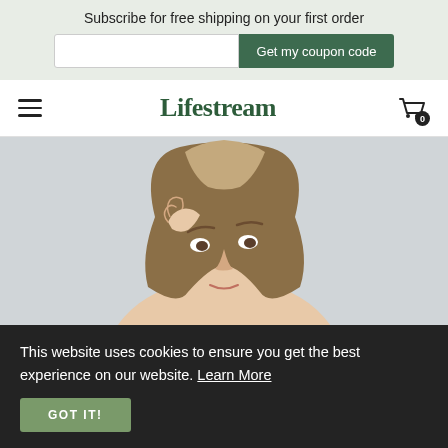Subscribe for free shipping on your first order
Get my coupon code
Lifestream
[Figure (photo): Young woman with hand raised to her forehead, looking sideways, against a light grey background]
This website uses cookies to ensure you get the best experience on our website. Learn More
GOT IT!